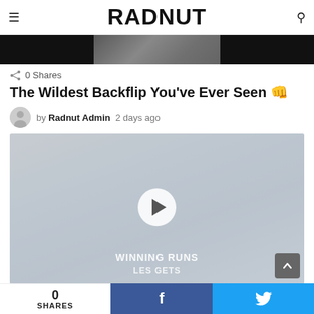RADNUT
[Figure (photo): Hero banner image partially visible, dark background with food/snack image in center]
0 Shares
The Wildest Backflip You've Ever Seen 👊
by Radnut Admin  2 days ago
[Figure (screenshot): Video thumbnail showing motocross/action sports scene with play button overlay. Text reads WINNING RUNS and LES GETS at bottom.]
0 SHARES  f  🐦